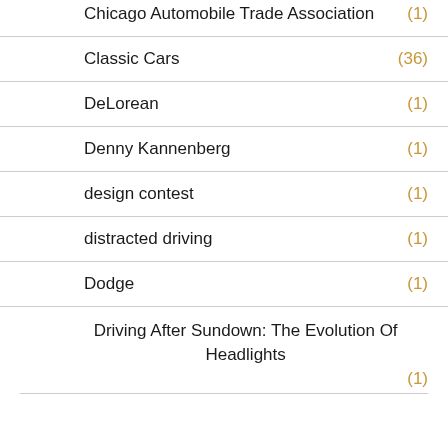Chicago Automobile Trade Association (1)
Classic Cars (36)
DeLorean (1)
Denny Kannenberg (1)
design contest (1)
distracted driving (1)
Dodge (1)
Driving After Sundown: The Evolution Of Headlights (1)